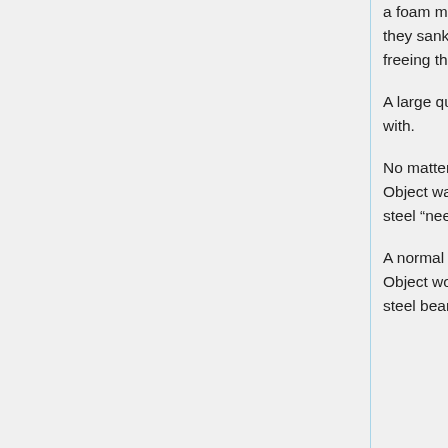a foam material was attached around the steel beam, a thick wire was attached, and they sank to the bottom of the ocean. The wire could be cut with a remote signal, freeing the giant buoy so its buoyancy could carry it to the surface.
A large quantity of needle-like protrusions was another terrain air cushions had trouble with.
No matter how much air they released, it would not remain atop the needles. The Object was kept afloat in relation to the ocean surface, so its floats would contact the steel “needles”.
A normal hovercraft would have its skirt torn and it would sink, but a nuke-resistant Object would not be so easily defeated. It would force its way through by pushing the steel beams back down below the surface.